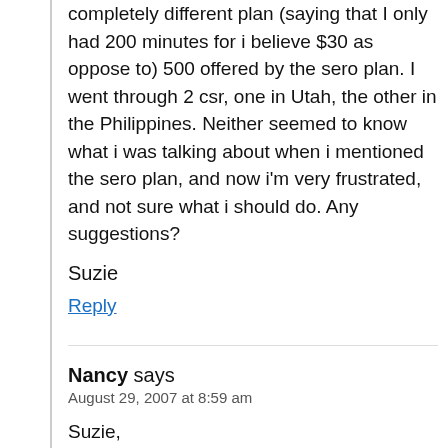completely different plan (saying that I only had 200 minutes for i believe $30 as oppose to) 500 offered by the sero plan. I went through 2 csr, one in Utah, the other in the Philippines. Neither seemed to know what i was talking about when i mentioned the sero plan, and now i'm very frustrated, and not sure what i should do. Any suggestions?
Suzie
Reply
Nancy says
August 29, 2007 at 8:59 am
Suzie,
That happened to me, too, when I signed up via the internet. It seems to me that Sprint tends to